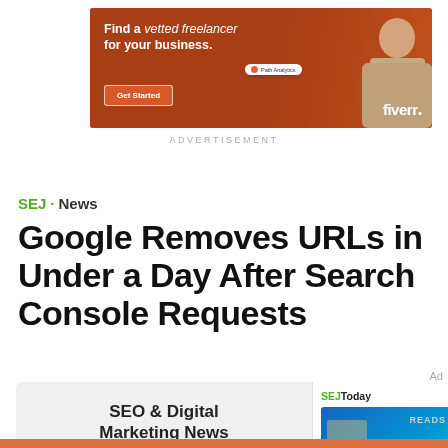[Figure (screenshot): Fiverr advertisement banner with orange/brown background: 'Find a vetted freelancer for your business.' with Get Started button, a woman in beige turtleneck, and Fiverr logo]
ADVERTISEMENT
SEJ · News
Google Removes URLs in Under a Day After Search Console Requests
[Figure (screenshot): Newsletter subscription ad: 'SEO & Digital Marketing News' with green SUBSCRIBE button and a SEJToday panel showing '10 WordPress Image Optimization' article thumbnail]